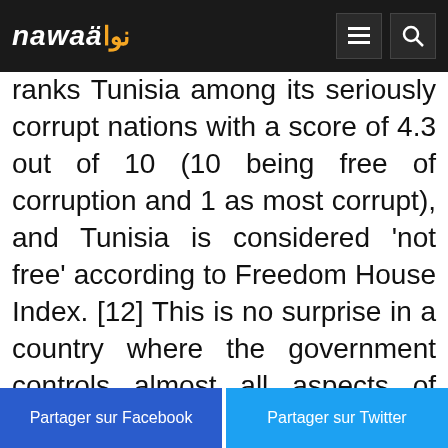nawaa (نوا) logo with menu and search icons
ranks Tunisia among its seriously corrupt nations with a score of 4.3 out of 10 (10 being free of corruption and 1 as most corrupt), and Tunisia is considered 'not free' according to Freedom House Index. [12] This is no surprise in a country where the government controls almost all aspects of people's lives. Young people are especially tightly controlled and monitored. Even fields of study in post-secondary education are decided
Partager sur Facebook | Partager sur Twitter